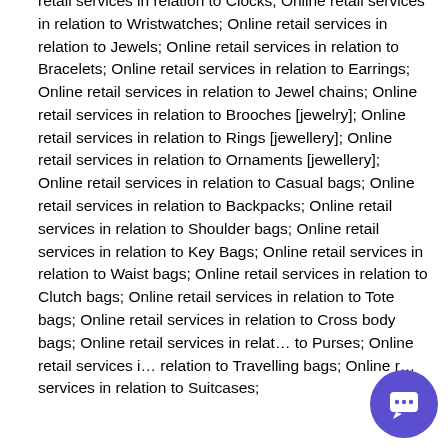retail services in relation to Clocks; Online retail services in relation to Wristwatches; Online retail services in relation to Jewels; Online retail services in relation to Bracelets; Online retail services in relation to Earrings; Online retail services in relation to Jewel chains; Online retail services in relation to Brooches [jewelry]; Online retail services in relation to Rings [jewellery]; Online retail services in relation to Ornaments [jewellery]; Online retail services in relation to Casual bags; Online retail services in relation to Backpacks; Online retail services in relation to Shoulder bags; Online retail services in relation to Key Bags; Online retail services in relation to Waist bags; Online retail services in relation to Clutch bags; Online retail services in relation to Tote bags; Online retail services in relation to Cross body bags; Online retail services in relation to Purses; Online retail services in relation to Travelling bags; Online retail services in relation to Suitcases;
[Figure (other): Purple/blue circular chat bubble button with white speech bubble icon, positioned in bottom-right corner]